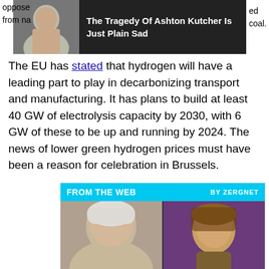[Figure (infographic): Ad banner with photo of Ashton Kutcher and text 'The Tragedy Of Ashton Kutcher Is Just Plain Sad' on dark background. Partial text visible on left: 'oppose' and 'from na' and on right: 'ed' and 'coal.']
The EU has stated that hydrogen will have a leading part to play in decarbonizing transport and manufacturing. It has plans to build at least 40 GW of electrolysis capacity by 2030, with 6 GW of these to be up and running by 2024. The news of lower green hydrogen prices must have been a reason for celebration in Brussels.
[Figure (infographic): ZergNet 'FROM THE WEB' widget with two cards. Left card shows photo of Alec Baldwin with caption 'Sheriff Confirms What We All Suspected About'. Right card shows illustrated video game character (Tiny Tina) with caption 'Who Plays Our Fav Tiny Tina's Characters'.]